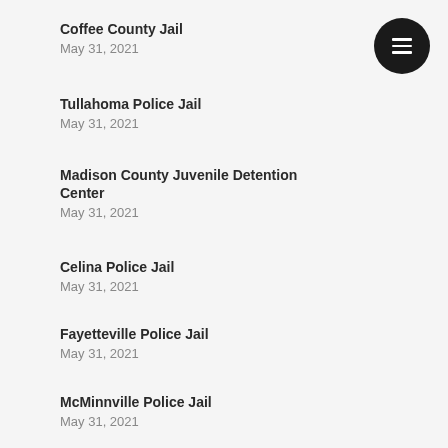Coffee County Jail
May 31, 2021
Tullahoma Police Jail
May 31, 2021
Madison County Juvenile Detention Center
May 31, 2021
Celina Police Jail
May 31, 2021
Fayetteville Police Jail
May 31, 2021
McMinnville Police Jail
May 31, 2021
Woods Police Jail